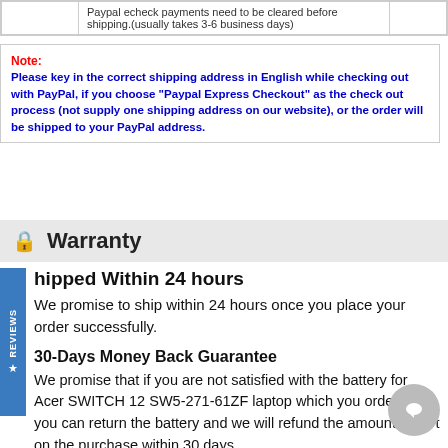|  |  |
| --- | --- |
|  | Paypal echeck payments need to be cleared before shipping.(usually takes 3-6 business days) |
Note:
Please key in the correct shipping address in English while checking out with PayPal, if you choose "Paypal Express Checkout" as the check out process (not supply one shipping address on our website), or the order will be shipped to your PayPal address.
Warranty
Shipped Within 24 hours
We promise to ship within 24 hours once you place your order successfully.
30-Days Money Back Guarantee
We promise that if you are not satisfied with the battery for Acer SWITCH 12 SW5-271-61ZF laptop which you ordered, you can return the battery and we will refund the amount you spent on the purchase within 30 days.
One-Year Warranty